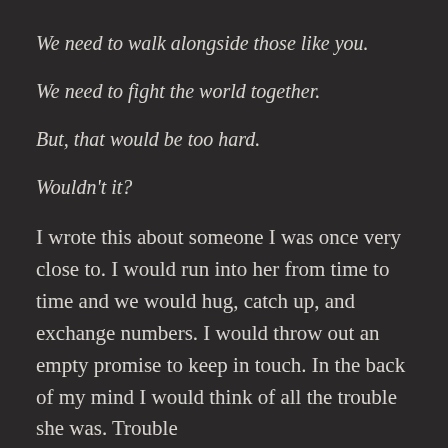We need to walk alongside those like you.
We need to fight the world together.
But, that would be too hard.
Wouldn't it?
I wrote this about someone I was once very close to. I would run into her from time to time and we would hug, catch up, and exchange numbers. I would throw out an empty promise to keep in touch. In the back of my mind I would think of all the trouble she was. Trouble